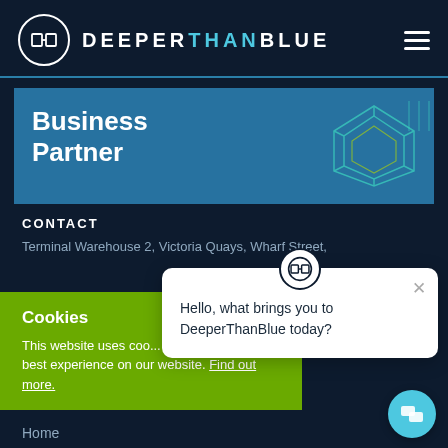[Figure (logo): DeeperThanBlue logo with circle DB icon and uppercase text DEEPERTHANBLUE with hamburger menu icon on the right]
[Figure (infographic): Blue banner with white bold text 'Business Partner' and geometric diamond/hexagon decorative lines on top right]
CONTACT
Terminal Warehouse 2, Victoria Quays, Wharf Street,
Cookies
This website uses cookies to ensure you get the best experience on our website. Find out more.
[Figure (screenshot): Chat popup with DeeperThanBlue logo icon, close X button, and message 'Hello, what brings you to DeeperThanBlue today?']
Home